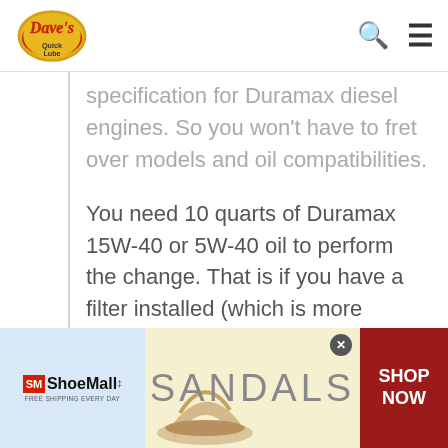Dave's Quick Lube
specification for Duramax diesel engines. So you won't have to fret over models and oil compatibilities.
You need 10 quarts of Duramax 15W-40 or 5W-40 oil to perform the change. That is if you have a filter installed (which is more likely). For a Duramax without a filter, about 9.2 quarts should be enough.
Manufacturers recommend the Amsoil 15W-40 or 5W-40 graded oils for the best
[Figure (other): ShoeMall advertisement banner with sandal image, SANDALS text, and SHOP NOW button]